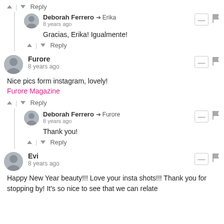↑ | ↓ Reply
Deborah Ferrero → Erika
8 years ago
Gracias, Erika! Igualmente!
↑ | ↓ Reply
Furore
8 years ago
Nice pics form instagram, lovely!
Furore Magazine
↑ | ↓ Reply
Deborah Ferrero → Furore
8 years ago
Thank you!
↑ | ↓ Reply
Evi
8 years ago
Happy New Year beauty!!! Love your insta shots!!! Thank you for stopping by! It's so nice to see that we can relate